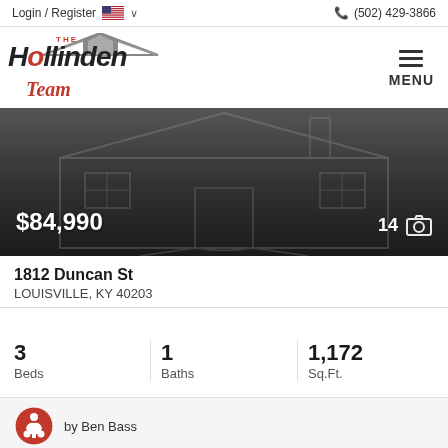Login / Register  (502) 429-3866
[Figure (logo): The Hollinden Team real estate logo with house graphic and team script text]
[Figure (photo): Dark hero image of a house outline/wireframe with price $84,990 overlay and photo count 14]
1812 Duncan St
LOUISVILLE, KY 40203
3 Beds   1 Baths   1,172 Sq.Ft.
by Ben Bass